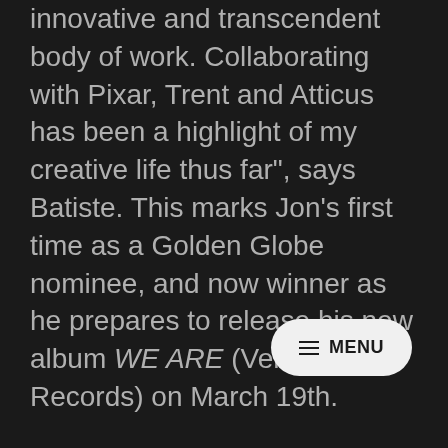innovative and transcendent body of work. Collaborating with Pixar, Trent and Atticus has been a highlight of my creative life thus far", says Batiste. This marks Jon’s first time as a Golden Globe nominee, and now winner as he prepares to release his new album WE ARE (Verve Records) on March 19th.
“Thank you to God for giving me the vision for the music. Thank you to all the supporters of the film around the world—we feel your love. Thank you to my family and close friends for your unconditional support during the 2-year creative